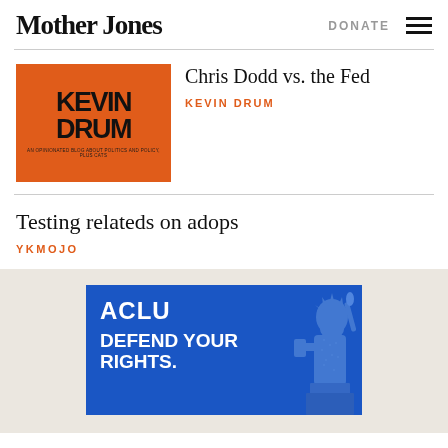Mother Jones | DONATE
[Figure (illustration): Kevin Drum blog thumbnail - orange background with KEVIN DRUM text in black bold letters]
Chris Dodd vs. the Fed
KEVIN DRUM
Testing relateds on adops
YKMOJO
[Figure (advertisement): ACLU advertisement on blue background with text DEFEND YOUR RIGHTS and Statue of Liberty graphic]